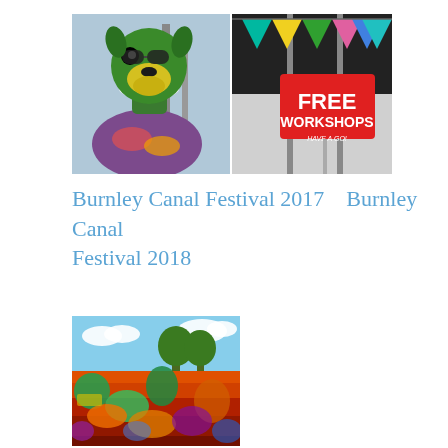[Figure (photo): Colorful animal costume head (green and yellow dog/fox mask) at Burnley Canal Festival 2017]
[Figure (photo): Free Workshops Have A Go sign with colorful bunting at Burnley Canal Festival 2018]
Burnley Canal Festival 2017    Burnley Canal Festival 2018
[Figure (photo): Colorful mural painted on narrow boats/buildings at a canal festival]